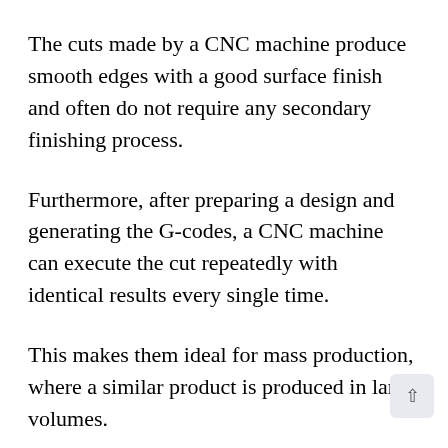The cuts made by a CNC machine produce smooth edges with a good surface finish and often do not require any secondary finishing process.
Furthermore, after preparing a design and generating the G-codes, a CNC machine can execute the cut repeatedly with identical results every single time.
This makes them ideal for mass production, where a similar product is produced in large volumes.